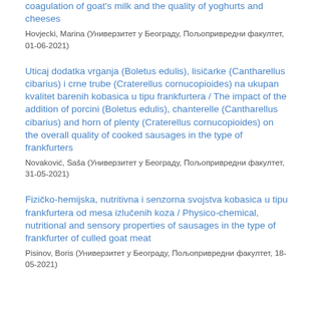coagulation of goat's milk and the quality of yoghurts and cheeses
Hovjecki, Marina (Универзитет у Београду, Пољопривредни факултет, 01-06-2021)
Uticaj dodatka vrganja (Boletus edulis), lisičarke (Cantharellus cibarius) i crne trube (Craterellus cornucopioides) na ukupan kvalitet barenih kobasica u tipu frankfurtera / The impact of the addition of porcini (Boletus edulis), chanterelle (Cantharellus cibarius) and horn of plenty (Craterellus cornucopioides) on the overall quality of cooked sausages in the type of frankfurters
Novaković, Saša (Универзитет у Београду, Пољопривредни факултет, 31-05-2021)
Fizičko-hemijska, nutritivna i senzorna svojstva kobasica u tipu frankfurtera od mesa izlučenih koza / Physico-chemical, nutritional and sensory properties of sausages in the type of frankfurter of culled goat meat
Pisinov, Boris (Универзитет у Београду, Пољопривредни факултет, 18-05-2021)